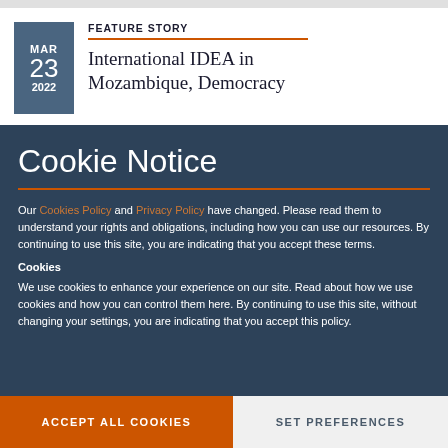MAR 23 2022
FEATURE STORY
International IDEA in Mozambique, Democracy
Cookie Notice
Our Cookies Policy and Privacy Policy have changed. Please read them to understand your rights and obligations, including how you can use our resources. By continuing to use this site, you are indicating that you accept these terms.
Cookies
We use cookies to enhance your experience on our site. Read about how we use cookies and how you can control them here. By continuing to use this site, without changing your settings, you are indicating that you accept this policy.
ACCEPT ALL COOKIES
SET PREFERENCES